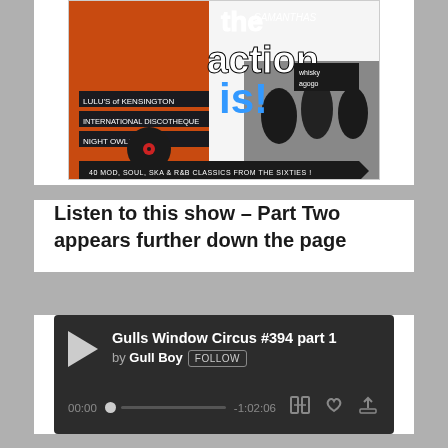[Figure (illustration): Album cover for a mod/soul/ska compilation showing colorful collage with text 'the action is!' with venue names including Lulu's of Kensington, Whisky a Gogo, and text '40 MOD, SOUL, SKA & R&B CLASSICS FROM THE SIXTIES!']
Listen to this show – Part Two appears further down the page
[Figure (screenshot): SoundCloud audio player widget showing: Gulls Window Circus #394 part 1 by Gull Boy, FOLLOW button, playback time 00:00, duration -1:02:06, with repeat, like, and share icons]